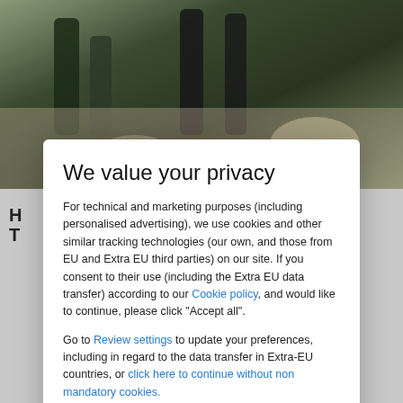[Figure (photo): Background photo of a restaurant table with drinks and food, partially blurred behind a modal overlay]
We value your privacy
For technical and marketing purposes (including personalised advertising), we use cookies and other similar tracking technologies (our own, and those from EU and Extra EU third parties) on our site. If you consent to their use (including the Extra EU data transfer) according to our Cookie policy, and would like to continue, please click "Accept all".
Go to Review settings to update your preferences, including in regard to the data transfer in Extra-EU countries, or click here to continue without non mandatory cookies.
ACCEPT ALL
Christmas and New Year
London - Bermondsey  show on map